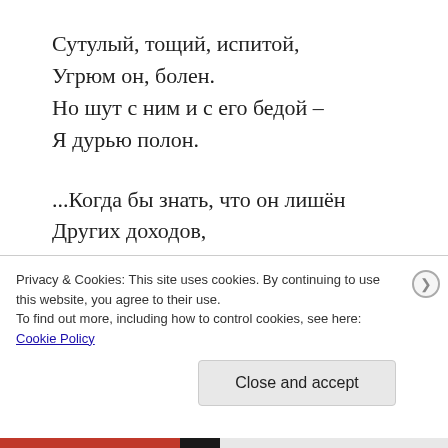Сутулый, тощий, испитой,
Угрюм он, болен.
Но шут с ним и с его бедой –
Я дурью полон.
...Когда бы знать, что он лишён
Других доходов,
Что от журналов отлучён
Отцом народов,
С того и проза тех времён
Вдруг стала тусклой...
Privacy & Cookies: This site uses cookies. By continuing to use this website, you agree to their use.
To find out more, including how to control cookies, see here: Cookie Policy